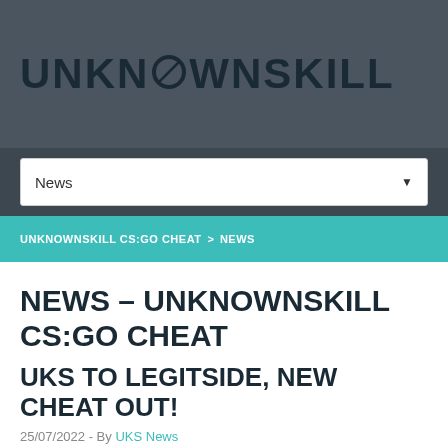UNKNOWNSKILL
News
UNKNOWNSKILL CS:GO CHEAT > NEWS
NEWS – UNKNOWNSKILL CS:GO CHEAT
UKS TO LEGITSIDE, NEW CHEAT OUT!
25/07/2022 - By UKS News